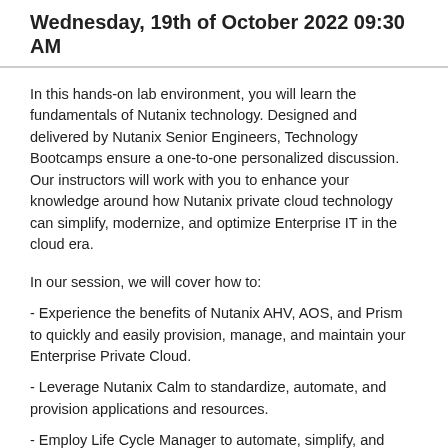Wednesday, 19th of October 2022 09:30 AM
In this hands-on lab environment, you will learn the fundamentals of Nutanix technology. Designed and delivered by Nutanix Senior Engineers, Technology Bootcamps ensure a one-to-one personalized discussion. Our instructors will work with you to enhance your knowledge around how Nutanix private cloud technology can simplify, modernize, and optimize Enterprise IT in the cloud era.
In our session, we will cover how to:
- Experience the benefits of Nutanix AHV, AOS, and Prism to quickly and easily provision, manage, and maintain your Enterprise Private Cloud.
- Leverage Nutanix Calm to standardize, automate, and provision applications and resources.
- Employ Life Cycle Manager to automate, simplify, and expedite software and firmware updates to the Nutanix platform.
- Right-size VMs with Prism Pro to maximize efficiency without sacrificing performance.
- Easily secure and harden your private cloud to ensure uptime and